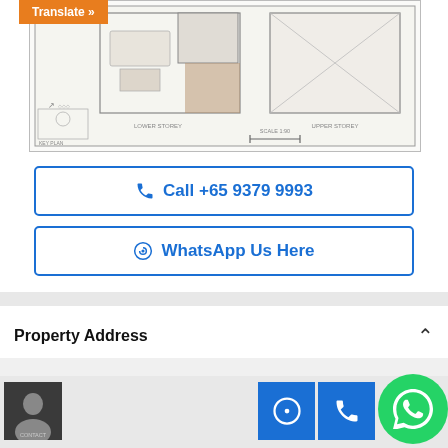[Figure (illustration): Floor plan showing lower storey and upper storey layouts of a residential unit, with key plan and scale 1:90 indicator. Orange 'Translate »' button overlaid on top-left.]
Translate »
📞 Call +65 9379 9993
© WhatsApp Us Here
Property Address
[Figure (photo): Thumbnail photo of a contact person, labelled CONTACT at bottom bar]
[Figure (other): WhatsApp and phone icon buttons in blue squares, plus a large green WhatsApp floating button]